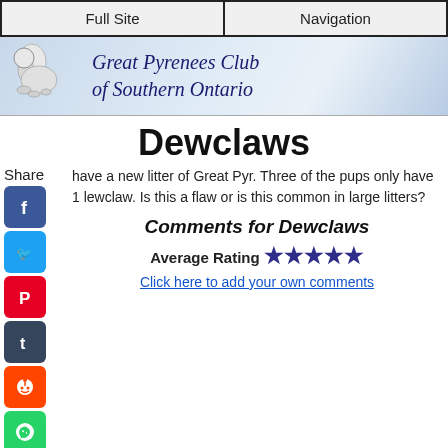Full Site | Navigation
[Figure (logo): Great Pyrenees Club of Southern Ontario banner with dog logo and stylized text]
Dewclaws
Share
have a new litter of Great Pyr. Three of the pups only have 1 lewclaw. Is this a flaw or is this common in large litters?
Comments for Dewclaws
Average Rating ★★★★★
Click here to add your own comments
Mar 15, 2015
Rating
★★★★★
Rear dew claws
by: Ed A from NJ
Of your talking about rear dew claws yes it is a flaw and instant disqualification in the show ring. It will draw fire from purest who will say they must be a mix because all great Pyrenees have